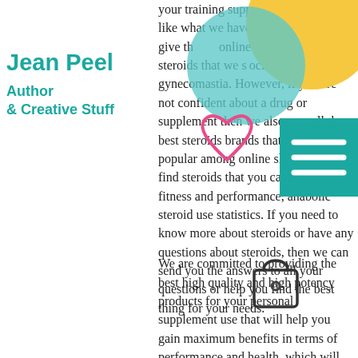[Figure (illustration): Decorative yellow circle, teal circle, pink heart scribble, shopping bag icon, and teal menu/hamburger button overlay]
Jean Peel
Author & Creative Stuff
your training supplements and see if you like what we have to of We give the... online... to all the steroids that we stock online gynecomastia. However, if you are not confident about a drug or supplement then we also ca... all the best steroids brands that are the most popular among online shoppers to find steroids that you can use for fitness and performance, anabolic steroid use statistics. If you need to know more about steroids or have any questions about steroids, then we can send you the answers to all your questions or help you find the best thing for your needs.
We are committed to providing the best high quality and high potency products for your personal supplement use that will help you gain maximum benefits in terms of performance and health, which will also be